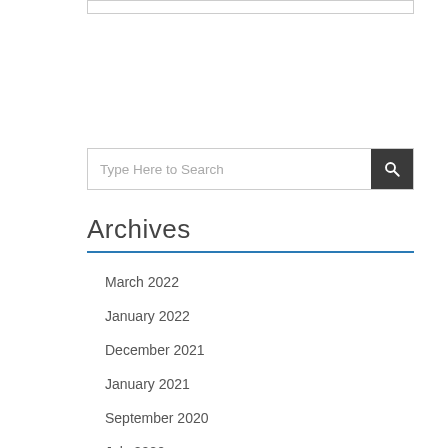[Figure (screenshot): Search input box at top of page, partially visible]
[Figure (screenshot): Search bar with placeholder text 'Type Here to Search' and a dark search button with magnifying glass icon]
Archives
March 2022
January 2022
December 2021
January 2021
September 2020
July 2020